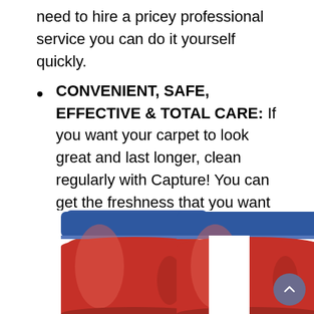need to hire a pricey professional service you can do it yourself quickly.
CONVENIENT, SAFE, EFFECTIVE & TOTAL CARE: If you want your carpet to look great and last longer, clean regularly with Capture! You can get the freshness that you want with our premium cleaning products. Contains no bleach, solvents, or harsh chemicals. Proudly made in the USA.
[Figure (photo): Two red plastic bottles with blue caps of Capture carpet cleaning product, shown side by side, partially cropped at the bottom of the page.]